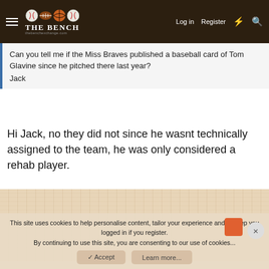The Bench — Log in | Register
Can you tell me if the Miss Braves published a baseball card of Tom Glavine since he pitched there last year?
Jack
Hi Jack, no they did not since he wasnt technically assigned to the team, he was only considered a rehab player.
[Figure (other): Wood grain texture background panel]
This site uses cookies to help personalise content, tailor your experience and to keep you logged in if you register.
By continuing to use this site, you are consenting to our use of cookies...
Accept    Learn more...